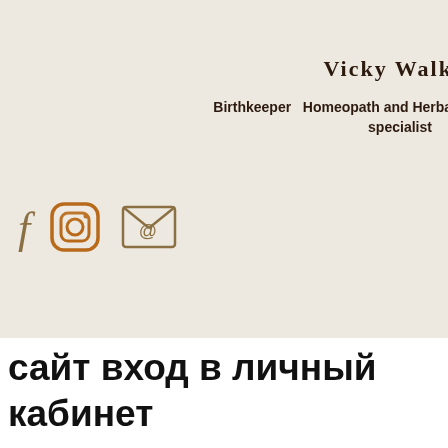Vicky Walker
Birthkeeper  Homeopath and Herbalist. Women's health specialist
[Figure (screenshot): Social media profile card with icons for Facebook, Instagram, email, and a plus button on a beige background]
сайт вход в личный кабинет
Cloudbet is a close second when it comes to sportsbook betting, with a similar range of sports on offer, but not quite as many current games and tournaments available to gamble on at the time of writing. For Esports fans, Cloudbet is the best bitcoin gambling site we've reviewed hands-down, as it provides unparalleled gambling access to some of the most popular Esports tournaments in the world. It's also an easy way to access Esports betting for crypto investors who aren't familiar with the industry, as many